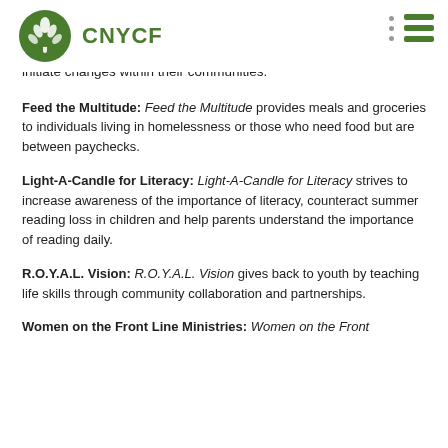CNYCF
initiate changes within their communities.
Feed the Multitude: Feed the Multitude provides meals and groceries to individuals living in homelessness or those who need food but are between paychecks.
Light-A-Candle for Literacy: Light-A-Candle for Literacy strives to increase awareness of the importance of literacy, counteract summer reading loss in children and help parents understand the importance of reading daily.
R.O.Y.A.L. Vision: R.O.Y.A.L. Vision gives back to youth by teaching life skills through community collaboration and partnerships.
Women on the Front Line Ministries: Women on the Front...